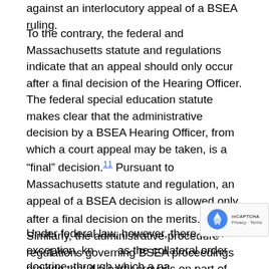against an interlocutory appeal of a BSEA ruling.
To the contrary, the federal and Massachusetts statute and regulations indicate that an appeal should only occur after a final decision of the Hearing Officer. The federal special education statute makes clear that the administrative decision by a BSEA Hearing Officer, from which a court appeal may be taken, is a “final” decision.[11] Pursuant to Massachusetts statute and regulation, an appeal of a BSEA decision is allowed only after a final decision on the merits.[12] Similarly, the administrative procedure regulations governing BSEA proceedings provide that if a party prevails on part of her claim and the ruling is not “dispositive of the case”, then further administrative proceedings are to be held on the remaining issues.[13]
Under federal law, however, there is an exception, known as the collateral order doctrine, through which a party may appeal an interlocutory ruling to federal court. In a